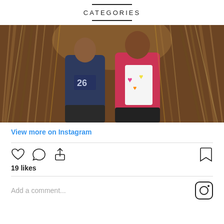CATEGORIES
[Figure (photo): Two people standing between tall dried grass or sugarcane stalks. One person wears a navy blue football jersey with number 26, the other wears a pink hoodie over a white heart-printed top.]
View more on Instagram
19 likes
Add a comment...